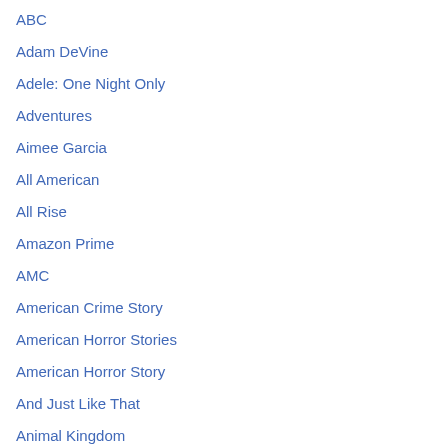ABC
Adam DeVine
Adele: One Night Only
Adventures
Aimee Garcia
All American
All Rise
Amazon Prime
AMC
American Crime Story
American Horror Stories
American Horror Story
And Just Like That
Animal Kingdom